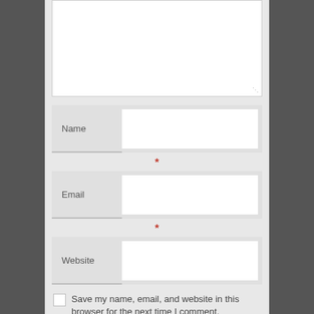[Figure (screenshot): A web comment form showing a text area (partially visible at top), followed by Name, Email, and Website input fields each with a required asterisk marker below Name and Email. A checkbox with label 'Save my name, email, and website in this browser for the next time I comment.' appears at the bottom.]
Name
*
Email
*
Website
Save my name, email, and website in this browser for the next time I comment.